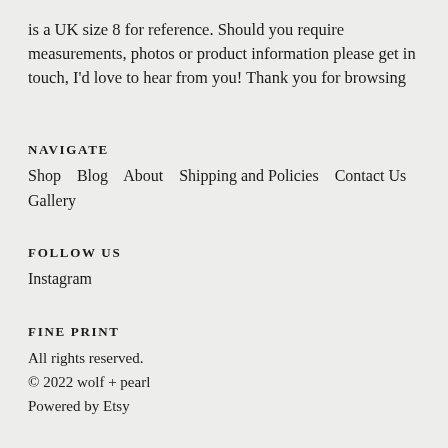is a UK size 8 for reference. Should you require measurements, photos or product information please get in touch, I'd love to hear from you! Thank you for browsing
NAVIGATE
Shop   Blog   About   Shipping and Policies   Contact Us   Gallery
FOLLOW US
Instagram
FINE PRINT
All rights reserved.
© 2022 wolf + pearl
Powered by Etsy